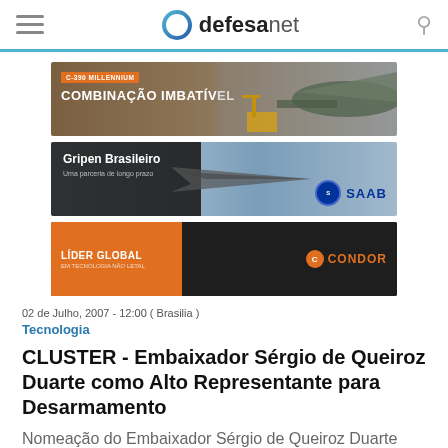defesanet
[Figure (photo): C-390 MILLENNIUM - COMBINAÇÃO IMBATÍVEL advertisement banner showing military cargo aircraft]
[Figure (photo): Gripen Brasileiro - Uma parceria de longo prazo - SAAB advertisement banner showing fighter jet]
[Figure (photo): LÍDER GLOBAL EM TECNOLOGIA NÃO LETAL - CONDOR advertisement banner]
02 de Julho, 2007 - 12:00 ( Brasilia )
Tecnologia
CLUSTER - Embaixador Sérgio de Queiroz Duarte como Alto Representante para Desarmamento
Nomeação do Embaixador Sérgio de Queiroz Duarte como Alto Representante do Secretário-Geral das